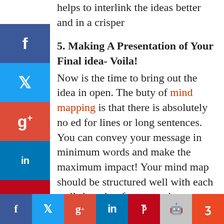helps to interlink the ideas better and in a crisper
5. Making A Presentation of Your Final idea- Voila!
Now is the time to bring out the idea in open. The beauty of mind mapping is that there is absolutely no need for lines or long sentences. You can convey your message in minimum words and make the maximum impact! Your mind map should be structured well with h well-thought of curve and
ere are some amazing tools online which offer some the best software on mind mapping, which you can to the best of your advantage. Happy Mapping!